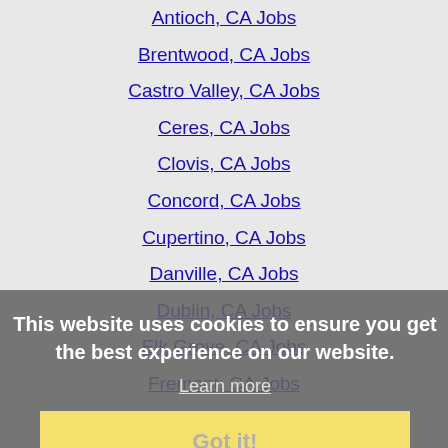Antioch, CA Jobs
Brentwood, CA Jobs
Castro Valley, CA Jobs
Ceres, CA Jobs
Clovis, CA Jobs
Concord, CA Jobs
Cupertino, CA Jobs
Danville, CA Jobs
Dublin, CA Jobs
Elk Grove, CA Jobs
Fremont, CA Jobs
Fresno, CA Jobs
Gilroy, CA Jobs
Hanford, CA Jobs
Hayward, CA Jobs
Laguna, CA Jobs
Livermore, CA Jobs
Lodi, CA Jobs
This website uses cookies to ensure you get the best experience on our website.
Learn more
Got it!